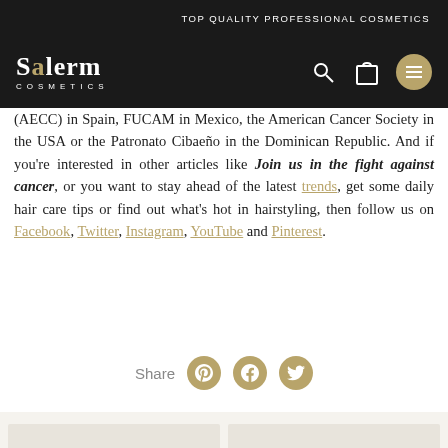TOP QUALITY PROFESSIONAL COSMETICS
[Figure (logo): Salerm Cosmetics logo in white on dark background]
(AECC) in Spain, FUCAM in Mexico, the American Cancer Society in the USA or the Patronato Cibaeño in the Dominican Republic. And if you're interested in other articles like Join us in the fight against cancer, or you want to stay ahead of the latest trends, get some daily hair care tips or find out what's hot in hairstyling, then follow us on Facebook, Twitter, Instagram, YouTube and Pinterest.
Share